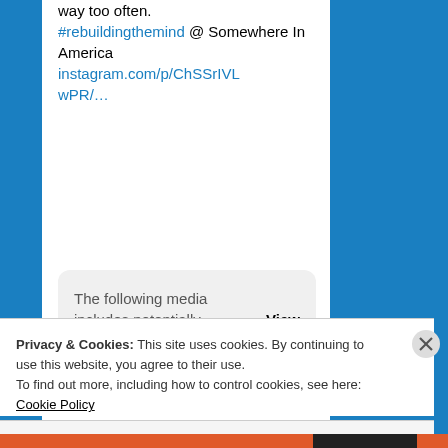way too often. #rebuildingthemind @ Somewhere In America instagram.com/p/ChSSrIVLwPR/…
The following media includes potentially sensitive content. View
[Figure (screenshot): Social media icons: comment bubble and heart]
Privacy & Cookies: This site uses cookies. By continuing to use this website, you agree to their use. To find out more, including how to control cookies, see here: Cookie Policy
Close and accept